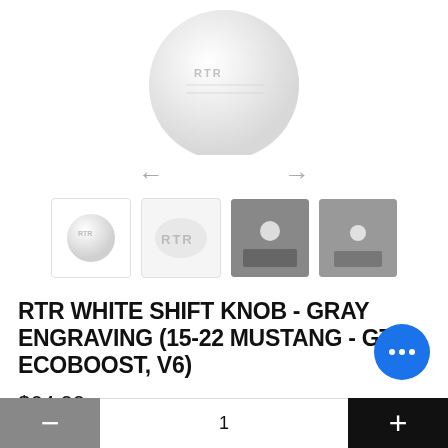[Figure (photo): White RTR shift knob product image on white background]
[Figure (photo): Four product thumbnail images: white shift knob ball, RTR logo close-up, shift knob installed in car (dark), shift knob installed in car (dark)]
RTR WHITE SHIFT KNOB - GRAY ENGRAVING (15-22 MUSTANG - GT, ECOBOOST, V6)
$64.99
[Figure (other): Blue circular chat/support button with three dots]
1